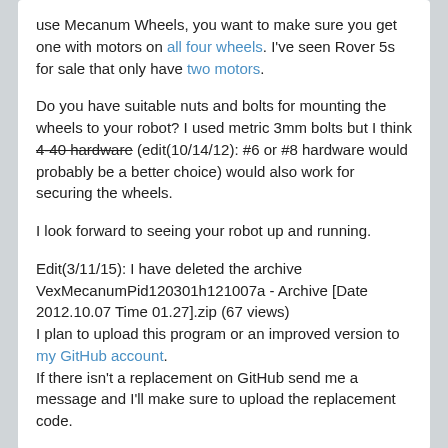use Mecanum Wheels, you want to make sure you get one with motors on all four wheels. I've seen Rover 5s for sale that only have two motors.

Do you have suitable nuts and bolts for mounting the wheels to your robot? I used metric 3mm bolts but I think 4-40 hardware (edit(10/14/12): #6 or #8 hardware would probably be a better choice) would also work for securing the wheels.

I look forward to seeing your robot up and running.

Edit(3/11/15): I have deleted the archive VexMecanumPid120301h121007a - Archive [Date 2012.10.07 Time 01.27].zip (67 views)
I plan to upload this program or an improved version to my GitHub account.
If there isn't a replacement on GitHub send me a message and I'll make sure to upload the replacement code.
Cliffo   Posts: 12